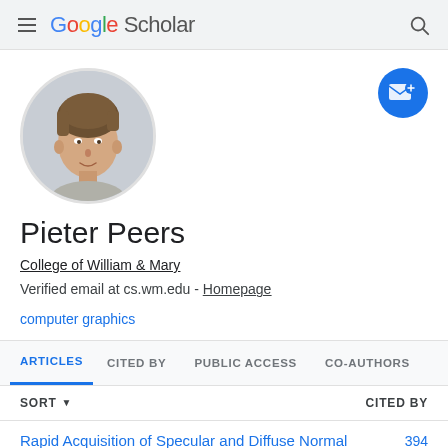Google Scholar
[Figure (photo): Circular profile photo of Pieter Peers, a man with short brown hair]
Pieter Peers
College of William & Mary
Verified email at cs.wm.edu - Homepage
computer graphics
ARTICLES  CITED BY  PUBLIC ACCESS  CO-AUTHORS
SORT  CITED BY
Rapid Acquisition of Specular and Diffuse Normal  394